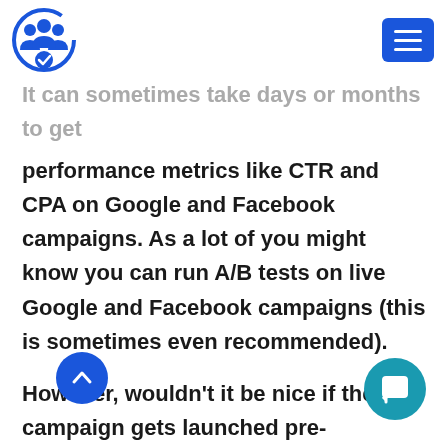[Logo] [Hamburger menu]
It can sometimes take days or months to get performance metrics like CTR and CPA on Google and Facebook campaigns. As a lot of you might know you can run A/B tests on live Google and Facebook campaigns (this is sometimes even recommended).
However, wouldn't it be nice if the campaign gets launched pre-optimized? This not only saves time and money but also gives your campaign a shot at being better than the competition.